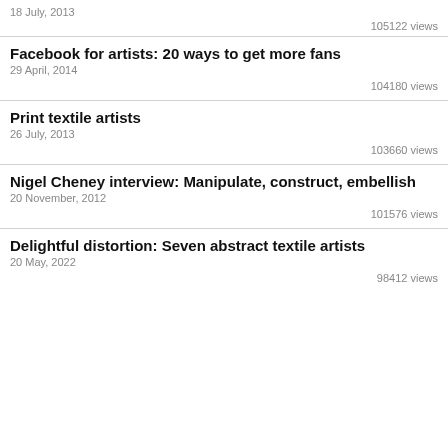18 July, 2013
105122 views
Facebook for artists: 20 ways to get more fans
29 April, 2014
104180 views
Print textile artists
26 July, 2013
103660 views
Nigel Cheney interview: Manipulate, construct, embellish
20 November, 2012
101576 views
Delightful distortion: Seven abstract textile artists
20 May, 2022
98412 views